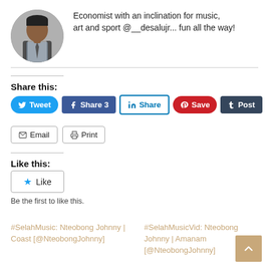[Figure (photo): Circular profile photo of a man in a plaid vest and tie]
Economist with an inclination for music, art and sport @__desalujr... fun all the way!
Share this:
Tweet | Share 3 | Share | Save | Post | Email | Print
Like this:
Like
Be the first to like this.
#SelahMusic: Nteobong Johnny | Coast [@NteobongJohnny]
#SelahMusicVid: Nteobong Johnny | Amanam [@NteobongJohnny]